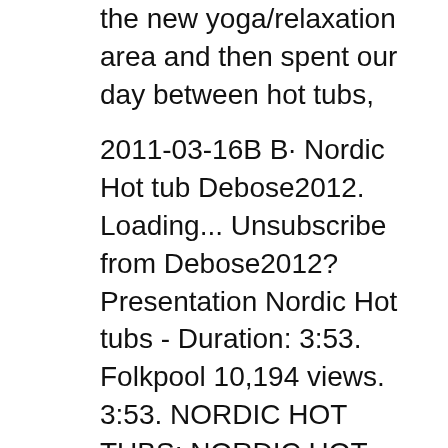the new yoga/relaxation area and then spent our day between hot tubs,
2011-03-16B B· Nordic Hot tub Debose2012. Loading... Unsubscribe from Debose2012? Presentation Nordic Hot tubs - Duration: 3:53. Folkpool 10,194 views. 3:53. NORDIC HOT TUBS; NORDIC HOT TUB CROWN II CLASSIC; Click the button below to add the NORDIC HOT TUB CROWN II CLASSIC to your wish list. Related Products.
Nordic Hot Tubs. Nordic Encore MS Nordic DвЂ™Amour MS; Nordic Bella MS; Nordic Crown XL; Nordic Crown; Nordic Crown II; Nordic Impulse;